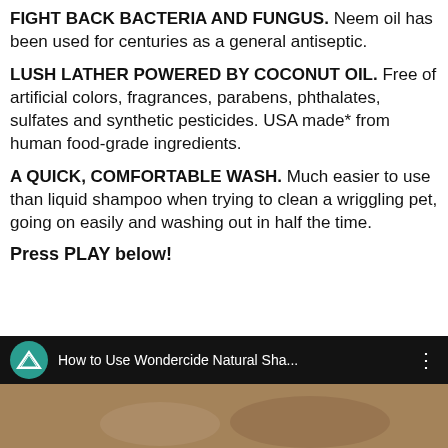FIGHT BACK BACTERIA AND FUNGUS. Neem oil has been used for centuries as a general antiseptic.
LUSH LATHER POWERED BY COCONUT OIL. Free of artificial colors, fragrances, parabens, phthalates, sulfates and synthetic pesticides. USA made* from human food-grade ingredients.
A QUICK, COMFORTABLE WASH. Much easier to use than liquid shampoo when trying to clean a wriggling pet, going on easily and washing out in half the time.
Press PLAY below!
[Figure (screenshot): YouTube-style video player thumbnail showing 'How to Use Wondercide Natural Sha...' with Wondercide teal logo on dark bar, and a photo of a person washing a dog below.]